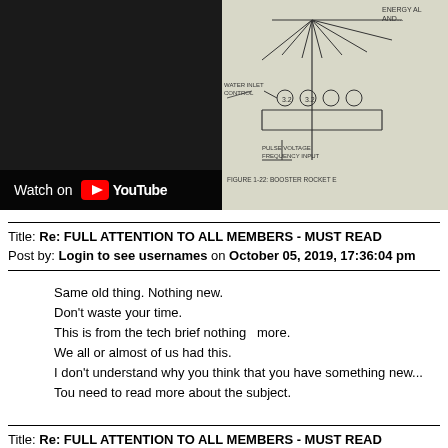[Figure (screenshot): Left half: YouTube video embed with dark background and 'Watch on YouTube' bar. Right half: engineering schematic showing booster rocket diagram with labels including 'WATER INLET CONTROL', 'PULSE VOLTAGE FREQUENCY INPUT', 'FIGURE 1-22: BOOSTER ROCKET E...']
Title: Re: FULL ATTENTION TO ALL MEMBERS - MUST READ
Post by: Login to see usernames on October 05, 2019, 17:36:04 pm
Same old thing. Nothing new.
Don't waste your time.
This is from the tech brief nothing  more.
We all or almost of us had this.
I don't understand why you think that you have something new...
Tou need to read more about the subject.
Title: Re: FULL ATTENTION TO ALL MEMBERS - MUST READ